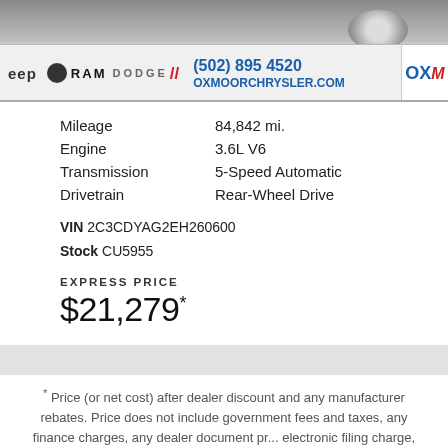[Figure (photo): Dealer banner showing partial car image at top, with Dodge, Jeep, RAM logos and Oxmoor Chrysler contact info: (502) 895 4520, OXMOORCHRYSLER.COM]
| Mileage | 84,842 mi. |
| Engine | 3.6L V6 |
| Transmission | 5-Speed Automatic |
| Drivetrain | Rear-Wheel Drive |
VIN 2C3CDYAG2EH260600
Stock CU5955
EXPRESS PRICE
$21,279*
* Price (or net cost) after dealer discount and any manufacturer rebates. Price does not include government fees and taxes, any finance charges, any dealer document pr... electronic filing charge, and any emission t... taxes, registration and license fees may apply for out of state